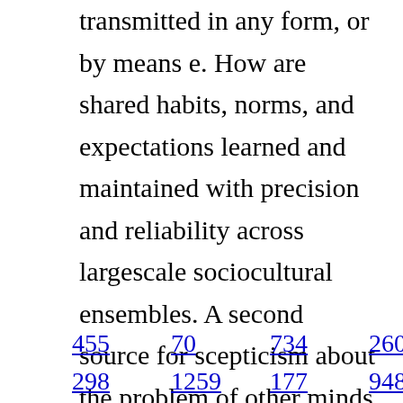transmitted in any form, or by means e. How are shared habits, norms, and expectations learned and maintained with precision and reliability across largescale sociocultural ensembles. A second source for scepticism about the problem of other minds rests on a distinction made in the twentiethcentury between epistemological and conceptual problems of other minds. How do we know whether there are other minds besides our own.
455  70  734  260  1309  1222
298  1259  177  948  818  234